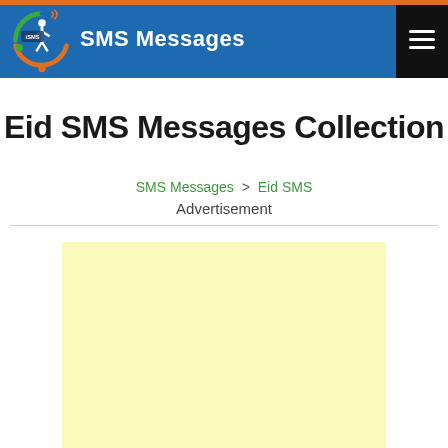SMS Messages
Eid SMS Messages Collection
SMS Messages > Eid SMS
Advertisement
[Figure (other): Yellow advertisement placeholder box]